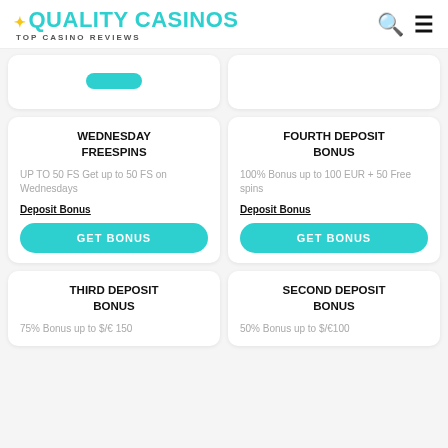QUALITY CASINOS TOP CASINO REVIEWS
WEDNESDAY FREESPINS
UP TO 50 FS Get up to 50 FS on Wednesdays
Deposit Bonus
FOURTH DEPOSIT BONUS
100% Bonus up to 100 EUR + 50 Free spins
Deposit Bonus
THIRD DEPOSIT BONUS
75% Bonus up to $/€ 150
SECOND DEPOSIT BONUS
50% Bonus up to $/€100